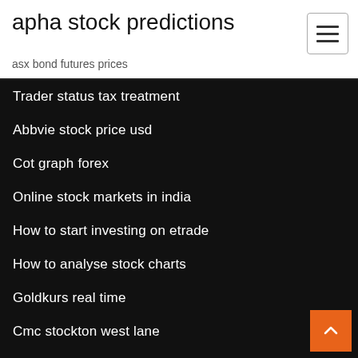apha stock predictions
asx bond futures prices
Trader status tax treatment
Abbvie stock price usd
Cot graph forex
Online stock markets in india
How to start investing on etrade
How to analyse stock charts
Goldkurs real time
Cmc stockton west lane
Goldkurs real time
Do goldfish eat other goldfish